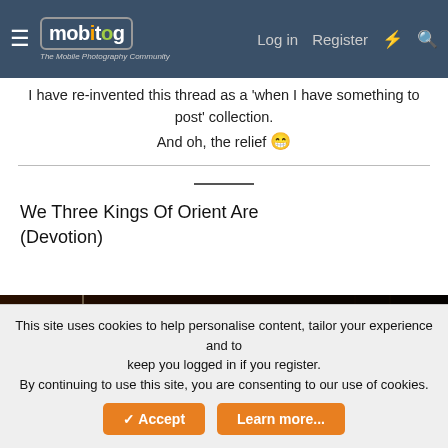mobitog — The Mobile Photography Community | Log in | Register
I have re-invented this thread as a 'when I have something to post' collection.
And oh, the relief 😁
We Three Kings Of Orient Are
(Devotion)
[Figure (photo): Dark night-time photograph showing a bright star-burst light source on the left side with lens flare, against a dark background with faint horizontal lines/reflections.]
This site uses cookies to help personalise content, tailor your experience and to keep you logged in if you register.
By continuing to use this site, you are consenting to our use of cookies.